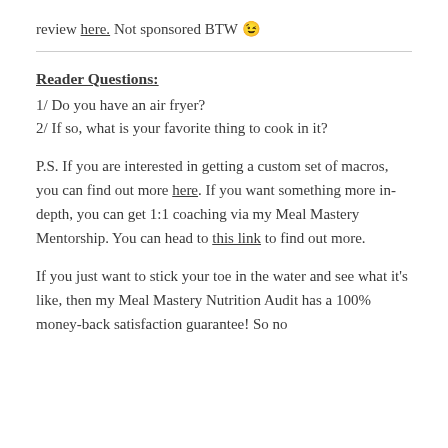review here. Not sponsored BTW 😉
Reader Questions:
1/ Do you have an air fryer?
2/ If so, what is your favorite thing to cook in it?
P.S. If you are interested in getting a custom set of macros, you can find out more here. If you want something more in-depth, you can get 1:1 coaching via my Meal Mastery Mentorship. You can head to this link to find out more.
If you just want to stick your toe in the water and see what it's like, then my Meal Mastery Nutrition Audit has a 100% money-back satisfaction guarantee! So no